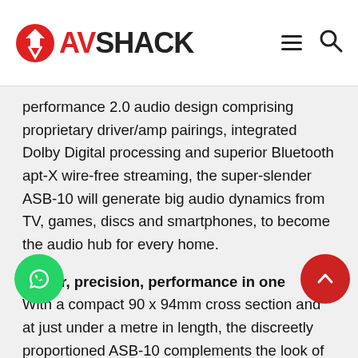AV SHACK
performance 2.0 audio design comprising proprietary driver/amp pairings, integrated Dolby Digital processing and superior Bluetooth apt-X wire-free streaming, the super-slender ASB-10 will generate big audio dynamics from TV, games, discs and smartphones, to become the audio hub for every home.
Power, precision, performance in one
With a compact 90 x 94mm cross section and at just under a metre in length, the discreetly proportioned ASB-10 complements the look of flat screens from wall or table-top positions. Its slim moulded polymer cabinet with black cloth grille and stylish brushed aluminium end trims houses an array of four Monitor Audio 3" C-CAM bass drivers (assisted